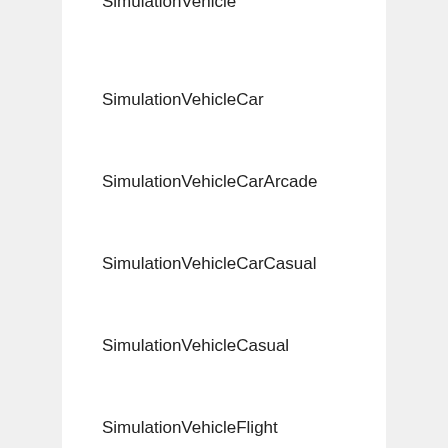SimulationVehicle
SimulationVehicleCar
SimulationVehicleCarArcade
SimulationVehicleCarCasual
SimulationVehicleCasual
SimulationVehicleFlight
SimulationVehicleTrain
SimulationVehicleTrainCasual
SimulationVehicleTruck
SimulationVehicleTruckCasual